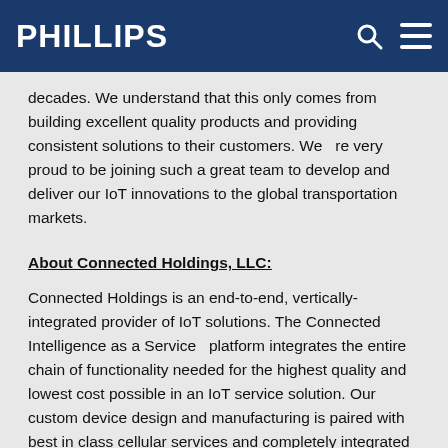PHILLIPS
decades. We understand that this only comes from building excellent quality products and providing consistent solutions to their customers. We   re very proud to be joining such a great team to develop and deliver our IoT innovations to the global transportation markets.
About Connected Holdings, LLC:
Connected Holdings is an end-to-end, vertically-integrated provider of IoT solutions. The Connected   Intelligence as a Service   platform integrates the entire chain of functionality needed for the highest quality and lowest cost possible in an IoT service solution. Our custom device design and manufacturing is paired with best in class cellular services and completely integrated cloud analytics and human interface applications. The Connected Holdings   Intelligence as a Service platform   is the technology behind Procon Analytics   one of today  s fastest growing and largest players in the consumer vehicle telematics business,